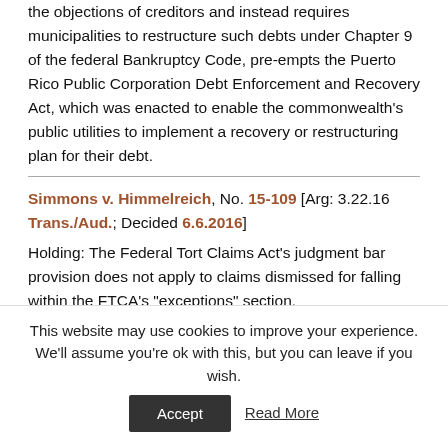the objections of creditors and instead requires municipalities to restructure such debts under Chapter 9 of the federal Bankruptcy Code, pre-empts the Puerto Rico Public Corporation Debt Enforcement and Recovery Act, which was enacted to enable the commonwealth's public utilities to implement a recovery or restructuring plan for their debt.
Simmons v. Himmelreich, No. 15-109 [Arg: 3.22.16 Trans./Aud.; Decided 6.6.2016]
Holding: The Federal Tort Claims Act's judgment bar provision does not apply to claims dismissed for falling within the FTCA's "exceptions" section.
This website may use cookies to improve your experience. We'll assume you're ok with this, but you can leave if you wish.